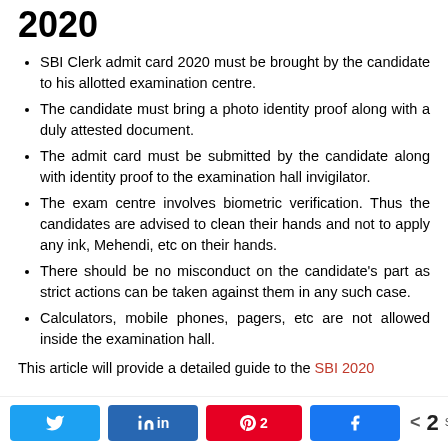2020
SBI Clerk admit card 2020 must be brought by the candidate to his allotted examination centre.
The candidate must bring a photo identity proof along with a duly attested document.
The admit card must be submitted by the candidate along with identity proof to the examination hall invigilator.
The exam centre involves biometric verification. Thus the candidates are advised to clean their hands and not to apply any ink, Mehendi, etc on their hands.
There should be no misconduct on the candidate's part as strict actions can be taken against them in any such case.
Calculators, mobile phones, pagers, etc are not allowed inside the examination hall.
This article will provide a detailed guide to the SBI 2020 ...
Share buttons: Twitter, LinkedIn, Pinterest (2), Facebook | < 2 SHARES